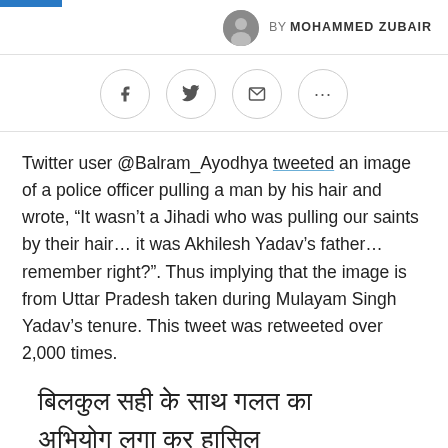BY MOHAMMED ZUBAIR
[Figure (other): Social sharing buttons: Facebook, Twitter, Email, More (...)]
Twitter user @Balram_Ayodhya tweeted an image of a police officer pulling a man by his hair and wrote, “It wasn’t a Jihadi who was pulling our saints by their hair… it was Akhilesh Yadav’s father… remember right?”. Thus implying that the image is from Uttar Pradesh taken during Mulayam Singh Yadav’s tenure. This tweet was retweeted over 2,000 times.
[Hindi text block - rendered in Devanagari script]